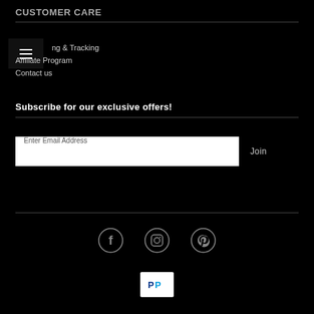CUSTOMER CARE
Shipping & Tracking
Affiliate Program
Contact us
Subscribe for our exclusive offers!
Enter Email Address
Join
[Figure (infographic): Social media icons: Facebook, Instagram, Pinterest]
[Figure (logo): PayPal payment badge]